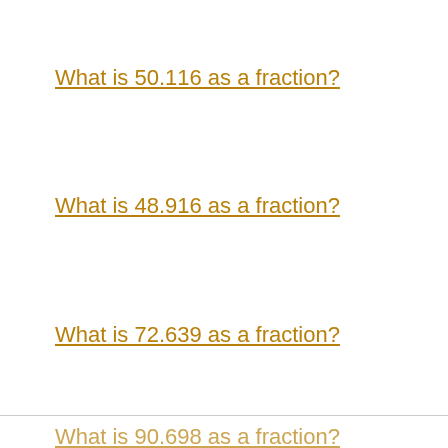What is 50.116 as a fraction?
What is 48.916 as a fraction?
What is 72.639 as a fraction?
What is 97.972 as a fraction?
What is 75.991 as a fraction?
What is 27.392 as a fraction?
What is 75.84 as a fraction?
What is 90.698 as a fraction?